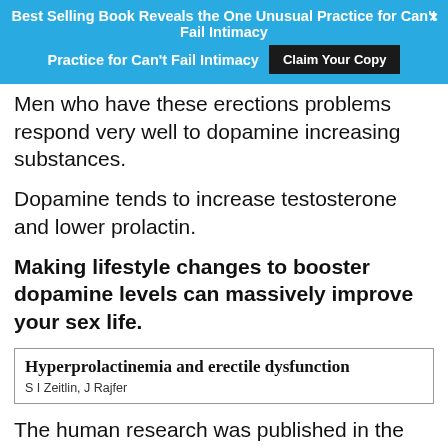Best Selling Book Reveals the One Unusual Practice for Can't Fail Intimacy
Men who have these erections problems respond very well to dopamine increasing substances.
Dopamine tends to increase testosterone and lower prolactin.
Making lifestyle changes to booster dopamine levels can massively improve your sex life.
[Figure (other): Journal article reference box: 'Hyperprolactinemia and erectile dysfunction' by S I Zeitlin, J Rajfer]
The human research was published in the journal Reviews in Urology.
Hyperprolactinemia is the medical term for high prolactin...